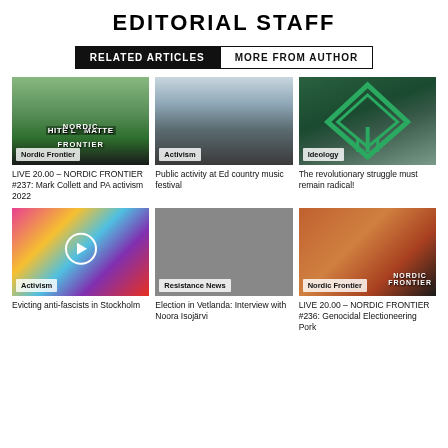EDITORIAL STAFF
RELATED ARTICLES  MORE FROM AUTHOR
[Figure (photo): Nordic Frontier thumbnail with text HITE LI MATTE NORDIC FRONTIER and green landscape]
LIVE 20.00 – NORDIC FRONTIER #237: Mark Collett and PA activism 2022
[Figure (photo): Activism photo showing crowd walking]
Public activity at Ed country music festival
[Figure (photo): Ideology image with green diamond logo and statue]
The revolutionary struggle must remain radical!
[Figure (photo): Activism photo with rainbow flag and play button overlay]
Evicting anti-fascists in Stockholm
[Figure (photo): Resistance News interview with Noora Isojärvi in front of building]
Election in Vetlanda: Interview with Noora Isojärvi
[Figure (photo): Nordic Frontier thumbnail with food/steak image and Nordic Frontier logo]
LIVE 20.00 – NORDIC FRONTIER #236: Genocidal Electioneering Pork